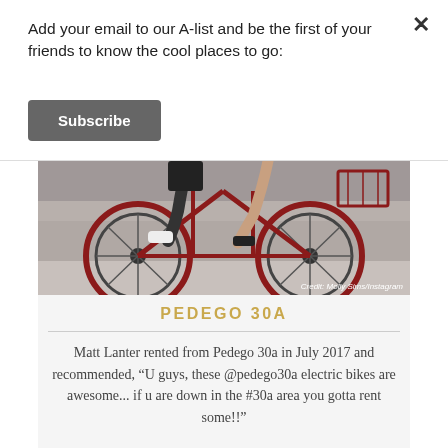Add your email to our A-list and be the first of your friends to know the cool places to go:
Subscribe
[Figure (photo): Two people riding a red tandem bicycle on a paved surface, photographed from the waist down. Credit: Molly Sims/Instagram]
Credit: Molly Sims/Instagram
PEDEGO 30A
Matt Lanter rented from Pedego 30a in July 2017 and recommended, "U guys, these @pedego30a electric bikes are awesome... if u are down in the #30a area you gotta rent some!!"